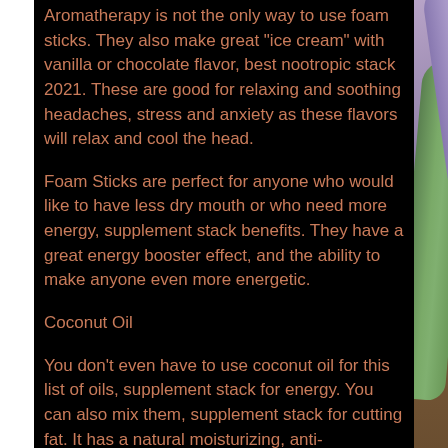Aromatherapy is not the only way to use foam sticks. They also make great "ice cream" with vanilla or chocolate flavor, best nootropic stack 2021. These are good for relaxing and soothing headaches, stress and anxiety as these flavors will relax and cool the head.
Foam Sticks are perfect for anyone who would like to have less dry mouth or who need more energy, supplement stack benefits. They have a great energy booster effect, and the ability to make anyone even more energetic.
Coconut Oil
You don't even have to use coconut oil for this list of oils, supplement stack for energy. You can also mix them, supplement stack for cutting fat. It has a natural moisturizing, anti-inflammatory and muscle strengthening
[Figure (photo): Photo of colorful chalk sticks (purple and green) resting on a wooden surface, viewed close-up from above.]